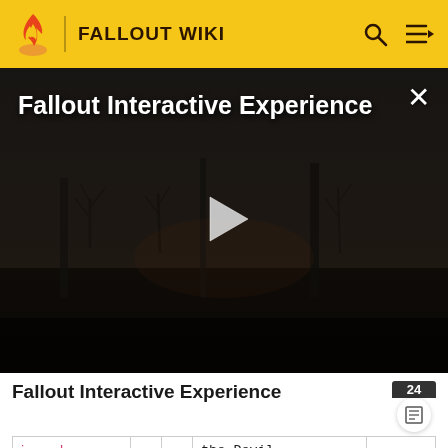FALLOUT WIKI
[Figure (screenshot): Video thumbnail for Fallout Interactive Experience showing a dark post-apocalyptic scene with a play button overlay. Title text 'Fallout Interactive Experience' appears in the top-left and a close (X) button in the top-right.]
Fallout Interactive Experience
| journal |  |  | the Devil |  |
| [doc icon] Ivy's story | 0 | 0 | The Paper Mirror | ccFRS |